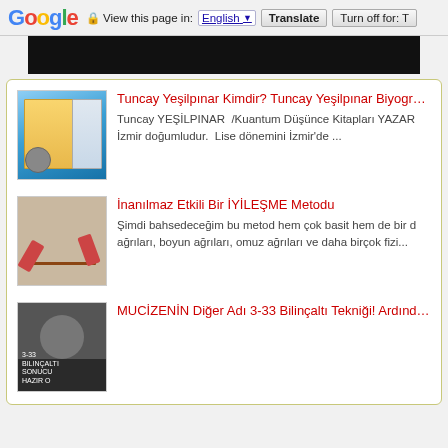Google  View this page in: English ▼  Translate  Turn off for: T
[Figure (screenshot): Black navigation bar at top of page content]
Tuncay Yeşilpınar Kimdir? Tuncay Yeşilpınar Biyografisi... Tuncay YEŞİLPINAR /Kuantum Düşünce Kitapları YAZAR İzmir doğumludur. Lise dönemini İzmir'de ...
İnanılmaz Etkili Bir İYİLEŞME Metodu Şimdi bahsedeceğim bu metod hem çok basit hem de bir d ağrıları, boyun ağrıları, omuz ağrıları ve daha birçok fizi...
MUCİZENİN Diğer Adı 3-33 Bilinçaltı Tekniği! Ardından Ola...